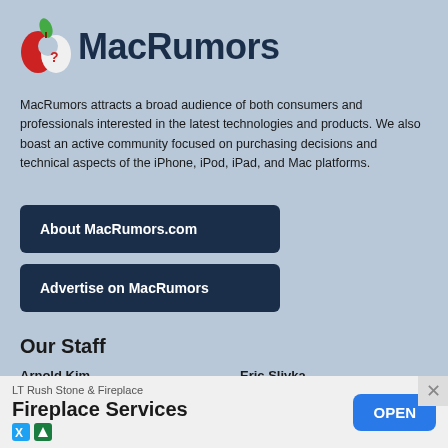[Figure (logo): MacRumors logo with red apple icon and dark navy text]
MacRumors attracts a broad audience of both consumers and professionals interested in the latest technologies and products. We also boast an active community focused on purchasing decisions and technical aspects of the iPhone, iPod, iPad, and Mac platforms.
About MacRumors.com
Advertise on MacRumors
Our Staff
Arnold Kim
Editorial Director
Email • Twitter
Eric Slivka
Editor in Chief
Email • Twitter
Juli Clover
Senior Edit…
LT Rush Stone & Fireplace
Fireplace Services
OPEN